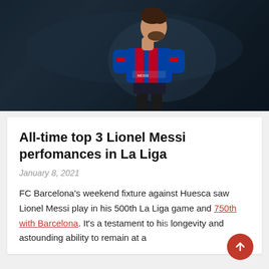[Figure (photo): Lionel Messi seen from behind in a dark stadium setting, wearing Barcelona jersey with 'MESSI' on the back, dark moody lighting]
All-time top 3 Lionel Messi perfomances in La Liga
January 8, 2021
FC Barcelona's weekend fixture against Huesca saw Lionel Messi play in his 500th La Liga game and 750th with Barcelona. It's a testament to his longevity and astounding ability to remain at a